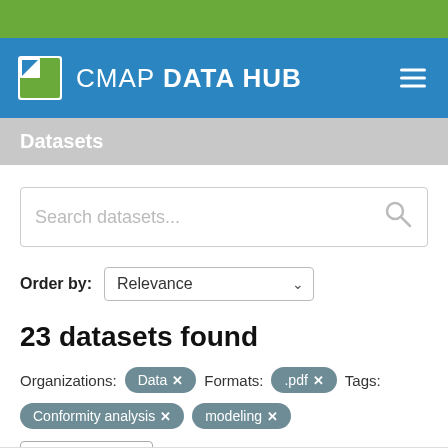CMAP DATA HUB
Datasets
Search datasets...
Order by: Relevance
23 datasets found
Organizations: Data  Formats: .pdf  Tags:
Conformity analysis  modeling
Filter Results